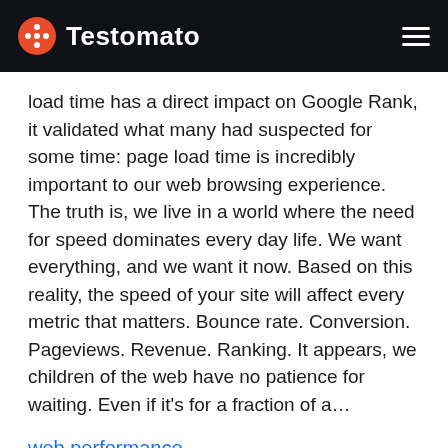Testomato
load time has a direct impact on Google Rank, it validated what many had suspected for some time: page load time is incredibly important to our web browsing experience.  The truth is, we live in a world where the need for speed dominates every day life. We want everything, and we want it now. Based on this reality, the speed of your site will affect every metric that matters. Bounce rate. Conversion. Pageviews. Revenue. Ranking. It appears, we children of the web have no patience for waiting. Even if it's for a fraction of a…
web performance
June 28, 2013 by Roman Ožana